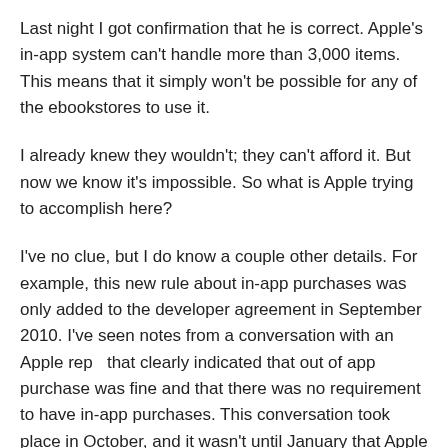Last night I got confirmation that he is correct. Apple's in-app system can't handle more than 3,000 items. This means that it simply won't be possible for any of the ebookstores to use it.
I already knew they wouldn't; they can't afford it. But now we know it's impossible. So what is Apple trying to accomplish here?
I've no clue, but I do know a couple other details. For example, this new rule about in-app purchases was only added to the developer agreement in September 2010. I've seen notes from a conversation with an Apple rep  that clearly indicated that out of app purchase was fine and that there was no requirement to have in-app purchases. This conversation took place in October, and it wasn't until January that Apple changed the interpretation of the developer agreement. One of my sources also said that Apple changed the deliberately overnight. Apple